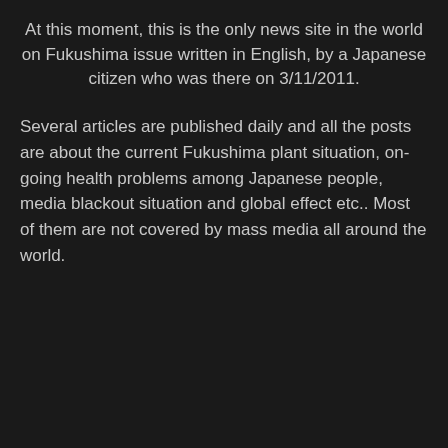At this moment, this is the only news site in the world on Fukushima issue written in English, by a Japanese citizen who was there on 3/11/2011.
Several articles are published daily and all the posts are about the current Fukushima plant situation, on-going health problems among Japanese people, media blackout situation and global effect etc.. Most of them are not covered by mass media all around the world.